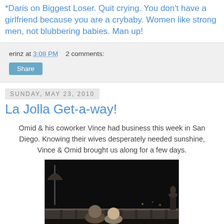*Daris on Biggest Loser. Quit crying. You don't have a girlfriend because you are a crybaby. Women like strong men, not blubbering babies. Man up!
erinz at 3:08 PM    2 comments:
Share
Sunday, May 23, 2010
La Jolla Get-a-way!
Omid & his coworker Vince had business this week in San Diego. Knowing their wives desperately needed sunshine, Vince & Omid brought us along for a few days.
[Figure (photo): Dark nighttime outdoor photo showing two people (a couple) seated at what appears to be a terrace or balcony with a stone balustrade railing. An umbrella is visible on the left. The background is very dark.]